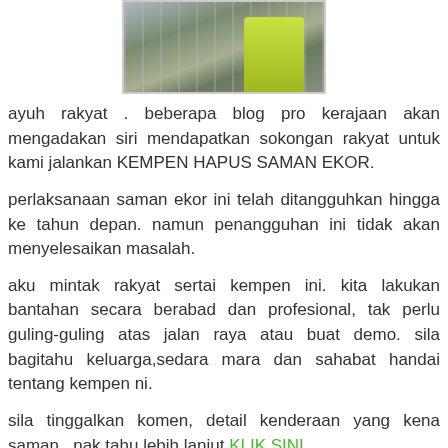[Figure (photo): Partial photo of a person wearing a bright yellow/green safety vest, cropped at top of page]
ayuh rakyat . beberapa blog pro kerajaan akan mengadakan siri mendapatkan sokongan rakyat untuk kami jalankan KEMPEN HAPUS SAMAN EKOR.
perlaksanaan saman ekor ini telah ditangguhkan hingga ke tahun depan. namun penangguhan ini tidak akan menyelesaikan masalah.
aku mintak rakyat sertai kempen ini. kita lakukan bantahan secara berabad dan profesional, tak perlu guling-guling atas jalan raya atau buat demo. sila bagitahu keluarga,sedara mara dan sahabat handai tentang kempen ni.
sila tinggalkan komen, detail kenderaan yang kena saman...nak tahu lebih lanjut KLIK SINI...